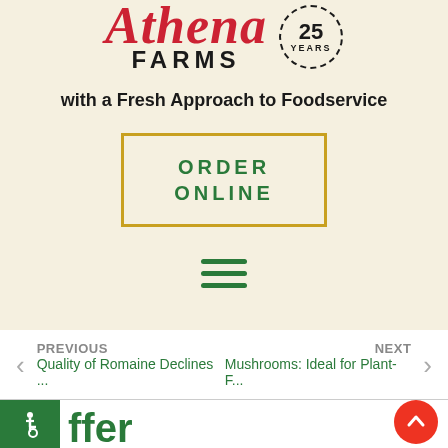[Figure (logo): Athena Farms logo with red italic script 'Athena' text, bold 'FARMS' text below, and a circular '25 YEARS' badge with laurel wreath border]
with a Fresh Approach to Foodservice
ORDER ONLINE
[Figure (other): Green hamburger menu icon with three horizontal lines]
PREVIOUS
Quality of Romaine Declines ...
NEXT
Mushrooms: Ideal for Plant-F...
[Figure (other): Green square accessibility icon with wheelchair symbol]
ffer